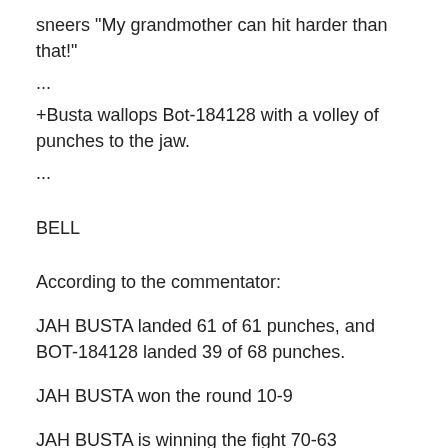sneers "My grandmother can hit harder than that!"
...
+Busta wallops Bot-184128 with a volley of punches to the jaw.
...
BELL
According to the commentator:
JAH BUSTA landed 61 of 61 punches, and BOT-184128 landed 39 of 68 punches.
JAH BUSTA won the round 10-9
JAH BUSTA is winning the fight 70-63
Busta grabs a water bottle and rests on his steel